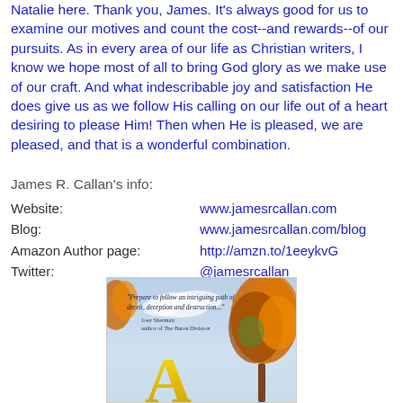Natalie here. Thank you, James. It's always good for us to examine our motives and count the cost--and rewards--of our pursuits. As in every area of our life as Christian writers, I know we hope most of all to bring God glory as we make use of our craft. And what indescribable joy and satisfaction He does give us as we follow His calling on our life out of a heart desiring to please Him! Then when He is pleased, we are pleased, and that is a wonderful combination.
James R. Callan's info:
Website: www.jamesrcallan.com
Blog: www.jamesrcallan.com/blog
Amazon Author page: http://amzn.to/1eeykvG
Twitter: @jamesrcallan
[Figure (photo): Book cover image partially visible at bottom of page. Shows autumn trees with orange/red foliage and a quote: 'Prepare to follow an intriguing path of deceit, deception and destruction...' attributed to Joey Sherman, author of The Baton Division. Large yellow letter 'A' visible at bottom.]